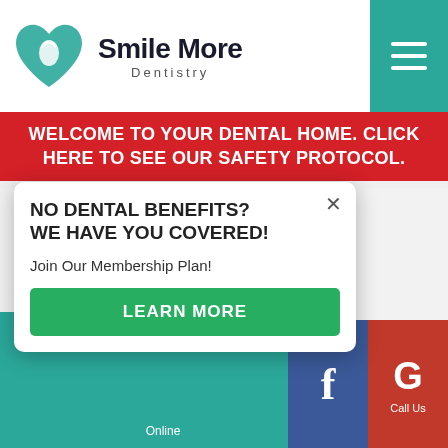Smile More Dentistry
WELCOME TO YOUR DENTAL HOME. CLICK HERE TO SEE OUR SAFETY PROTOCOL.
Porcelain Veneers
Teeth Whitening
Traditional Orthodontics
Invisalign® Clear Braces
Acceledent™
Advanced Technology
Emergency Dentistry
NO DENTAL BENEFITS? WE HAVE YOU COVERED!
Join Our Membership Plan!
LEARN MORE